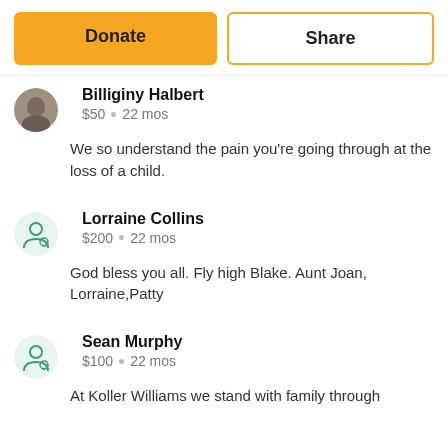Donate
Share
Billiginy Halbert
$50 • 22 mos
We so understand the pain you're going through at the loss of a child.
Lorraine Collins
$200 • 22 mos
God bless you all. Fly high Blake. Aunt Joan, Lorraine,Patty
Sean Murphy
$100 • 22 mos
At Koller Williams we stand with family through